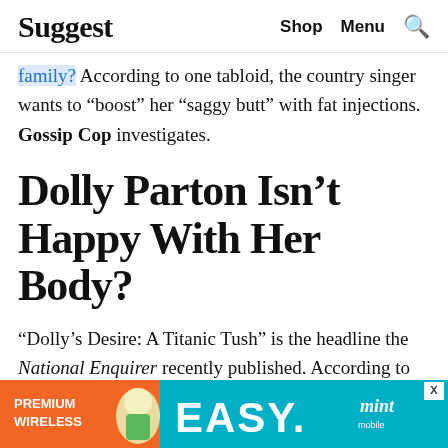Suggest   Shop   Menu   🔍
family? According to one tabloid, the country singer wants to “boost” her “saggy butt” with fat injections. Gossip Cop investigates.
Dolly Parton Isn’t Happy With Her Body?
“Dolly’s Desire: A Titanic Tush” is the headline the National Enquirer recently published. According to the outlet, Parton “feels it’s time to do something about her droopy derriere!” because she isn’t happy with the way it currently... ntry
[Figure (infographic): Advertisement banner: Premium Wireless | EASY. | mint mobile, with cartoon mascot character]